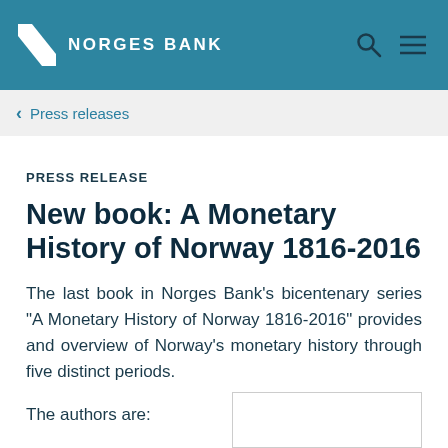NORGES BANK
Press releases
PRESS RELEASE
New book: A Monetary History of Norway 1816-2016
The last book in Norges Bank's bicentenary series "A Monetary History of Norway 1816-2016" provides and overview of Norway's monetary history through five distinct periods.
The authors are: